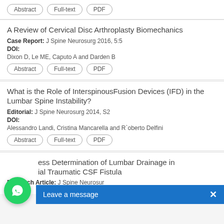Abstract | Full-text | PDF (buttons, top strip)
A Review of Cervical Disc Arthroplasty Biomechanics
Case Report: J Spine Neurosurg 2016, 5:5
DOI:
Dixon D, Le ME, Caputo A and Darden B
Abstract | Full-text | PDF
What is the Role of InterspinousFusion Devices (IFD) in the Lumbar Spine Instability?
Editorial: J Spine Neurosurg 2014, S2
DOI:
Alessandro Landi, Cristina Mancarella and R`oberto Delfini
Abstract | Full-text | PDF
ess Determination of Lumbar Drainage in ial Traumatic CSF Fistula
Research Article: J Spine Neurosur
DOI:
[Figure (other): WhatsApp chat bubble icon (green circle with phone handset)]
Leave a message  ✕